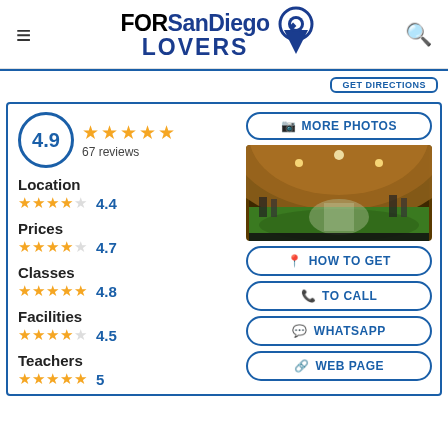FORSanDiego LOVERS
4.9 — 67 reviews — Location 4.4 — Prices 4.7 — Classes 4.8 — Facilities 4.5 — Teachers 5
[Figure (photo): Interior photo of a gym/sports facility with green turf flooring, exercise equipment, and a curved wooden ceiling, shown in a fisheye/360-degree view]
MORE PHOTOS
HOW TO GET
TO CALL
WHATSAPP
WEB PAGE